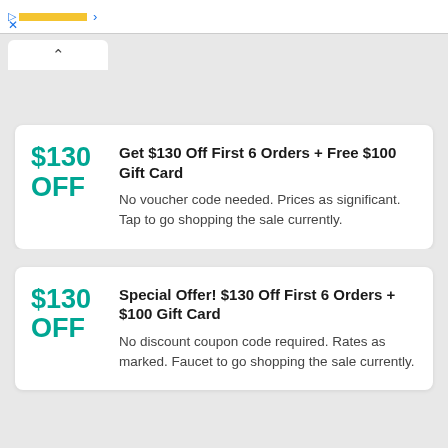[Figure (screenshot): Top browser ad bar with yellow highlight, blue arrow, and blue X close button]
[Figure (screenshot): Browser tab bar with up-caret tab indicator on white tab]
$130 OFF
Get $130 Off First 6 Orders + Free $100 Gift Card
No voucher code needed. Prices as significant. Tap to go shopping the sale currently.
$130 OFF
Special Offer! $130 Off First 6 Orders + $100 Gift Card
No discount coupon code required. Rates as marked. Faucet to go shopping the sale currently.